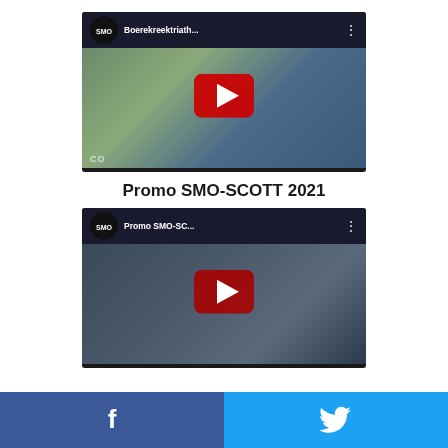[Figure (screenshot): YouTube video thumbnail for 'Boerekreektriath...' with SMO-SCOTT triathlon team logo and red play button]
Promo SMO-SCOTT 2021
[Figure (screenshot): YouTube video thumbnail for 'Promo SMO-SC...' with SMO-SCOTT triathlon team logo and red play button]
[Figure (other): Social media sharing bar with Facebook and Twitter icons]